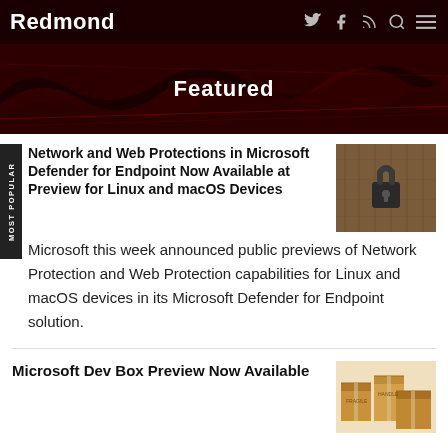Redmond
Featured
Network and Web Protections in Microsoft Defender for Endpoint Now Available at Preview for Linux and macOS Devices
Microsoft this week announced public previews of Network Protection and Web Protection capabilities for Linux and macOS devices in its Microsoft Defender for Endpoint solution.
Microsoft Dev Box Preview Now Available